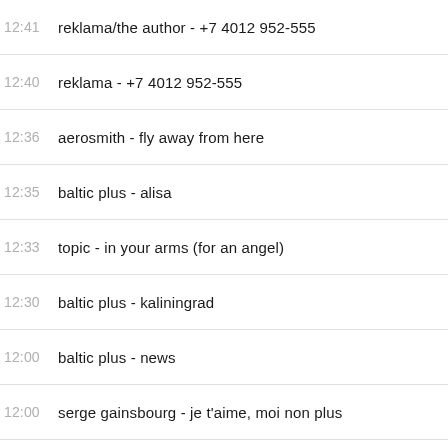12:41  reklama/the author - +7 4012 952-555
12:40  reklama - +7 4012 952-555
12:36  aerosmith - fly away from here
12:35  baltic plus - alisa
12:33  topic - in your arms (for an angel)
12:30  baltic plus - kaliningrad
12:00  baltic plus - news
12:00  serge gainsbourg - je t'aime, moi non plus